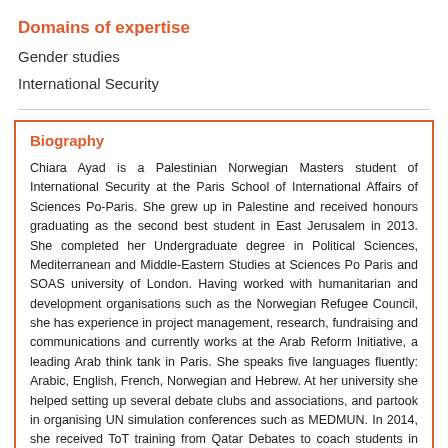Domains of expertise
Gender studies
International Security
Biography
Chiara Ayad is a Palestinian Norwegian Masters student of International Security at the Paris School of International Affairs of Sciences Po-Paris. She grew up in Palestine and received honours graduating as the second best student in East Jerusalem in 2013. She completed her Undergraduate degree in Political Sciences, Mediterranean and Middle-Eastern Studies at Sciences Po Paris and SOAS university of London. Having worked with humanitarian and development organisations such as the Norwegian Refugee Council, she has experience in project management, research, fundraising and communications and currently works at the Arab Reform Initiative, a leading Arab think tank in Paris. She speaks five languages fluently: Arabic, English, French, Norwegian and Hebrew. At her university she helped setting up several debate clubs and associations, and partook in organising UN simulation conferences such as MEDMUN. In 2014, she received ToT training from Qatar Debates to coach students in France to partake in the International University Arabic Debating Championship. At the IUADC 2017 her team, representing Sciences Po Paris, won first place in the second category of debaters whose second language is Arabic. Her current research interests are